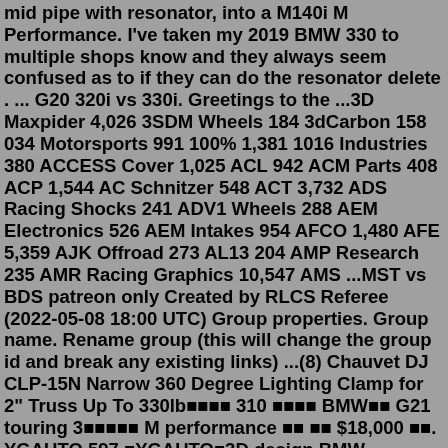mid pipe with resonator, into a M140i M Performance. I've taken my 2019 BMW 330 to multiple shops know and they always seem confused as to if they can do the resonator delete . ... G20 320i vs 330i. Greetings to the ...3D Maxpider 4,026 3SDM Wheels 184 3dCarbon 158 034 Motorsports 991 100% 1,381 1016 Industries 380 ACCESS Cover 1,025 ACL 942 ACM Parts 408 ACP 1,544 AC Schnitzer 548 ACT 3,732 ADS Racing Shocks 241 ADV1 Wheels 288 AEM Electronics 526 AEM Intakes 954 AFCO 1,480 AFE 5,359 AJK Offroad 273 AL13 204 AMP Research 235 AMR Racing Graphics 10,547 AMS ...MST vs BDS patreon only Created by RLCS Referee (2022-05-08 18:00 UTC) Group properties. Group name. Rename group (this will change the group id and break any existing links) ...(8) Chauvet DJ CLP-15N Narrow 360 Degree Lighting Clamp for 2" Truss Up To 330lb■■■■ 310 ■■■■ BMW■■ G21 touring 3■■■■■ M performance ■■ ■■ $18,000 ■■. YGAUTO 597 ■YGAUTO■3D design BMW G20/G21 M-Sport ■■■■■■ $16,888 ■■. SPY MOTOR 19 ■SPY■■■BMW G20 G21 MP■■ ■■■■ ■■■■